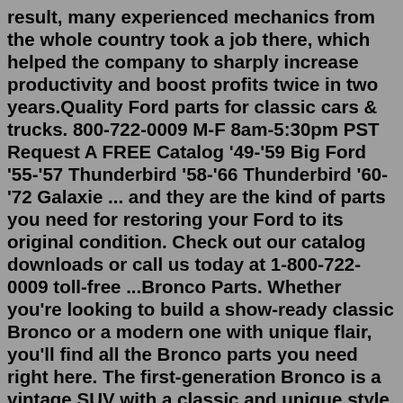result, many experienced mechanics from the whole country took a job there, which helped the company to sharply increase productivity and boost profits twice in two years.Quality Ford parts for classic cars & trucks. 800-722-0009 M-F 8am-5:30pm PST Request A FREE Catalog '49-'59 Big Ford '55-'57 Thunderbird '58-'66 Thunderbird '60-'72 Galaxie ... and they are the kind of parts you need for restoring your Ford to its original condition. Check out our catalog downloads or call us today at 1-800-722-0009 toll-free ...Bronco Parts. Whether you're looking to build a show-ready classic Bronco or a modern one with unique flair, you'll find all the Bronco parts you need right here. The first-generation Bronco is a vintage SUV with a classic and unique style. This blend of looks and performance earned the Ford Bronco an enduring reputation.Classic Industries offers a wide selection of Ford F-150 parts, including Ford F-150 interior parts and soft trim, Ford F-150 exterior sheet metal, Ford F-150 moldings, Ford F-150 emblems, Ford F-150 weatherstrip and unique...